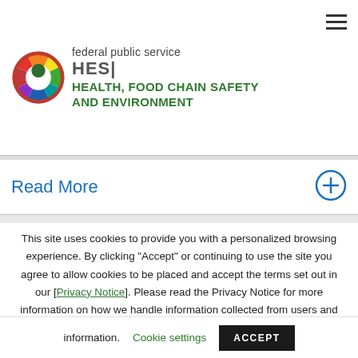[Figure (logo): Federal Public Service Health, Food Chain Safety and Environment logo with colorful circular emblem and FHES abbreviation]
federal public service HEALTH, FOOD CHAIN SAFETY AND ENVIRONMENT
Read More
This site uses cookies to provide you with a personalized browsing experience. By clicking “Accept” or continuing to use the site you agree to allow cookies to be placed and accept the terms set out in our [Privacy Notice]. Please read the Privacy Notice for more information on how we handle information collected from users and how you can control the use of such information.
Cookie settings
ACCEPT